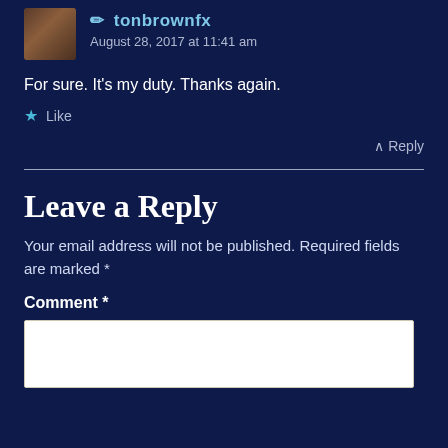tonbrownfx — August 28, 2017 at 11:41 am
For sure. It’s my duty. Thanks again.
★ Like
∧ Reply
Leave a Reply
Your email address will not be published. Required fields are marked *
Comment *